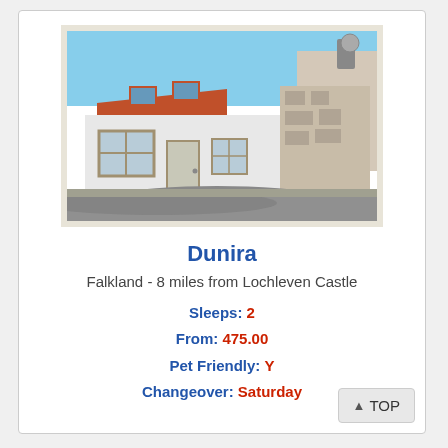[Figure (photo): Exterior photo of Dunira cottage in Falkland — a low whitewashed stone cottage with red/terracotta tiled roof and dormer windows, set on a village street with stone buildings alongside. Sunny day with blue sky.]
Dunira
Falkland - 8 miles from Lochleven Castle
Sleeps: 2
From: 475.00
Pet Friendly: Y
Changeover: Saturday